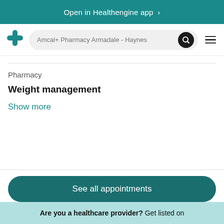Open in Healthengine app >
[Figure (screenshot): Healthengine app navigation bar with teal logo, search field showing 'Amcal+ Pharmacy Armadale - Haynes', search button, and hamburger menu]
Pharmacy
Weight management
Show more
See all appointments
Are you a healthcare provider? Get listed on